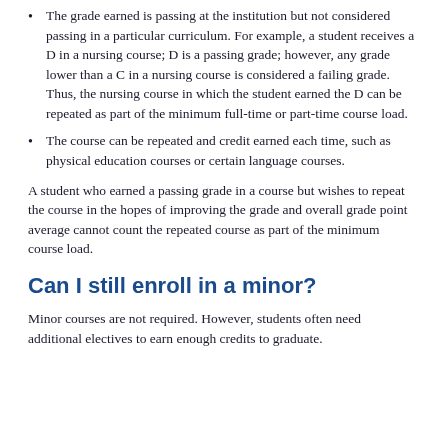The grade earned is passing at the institution but not considered passing in a particular curriculum. For example, a student receives a D in a nursing course; D is a passing grade; however, any grade lower than a C in a nursing course is considered a failing grade. Thus, the nursing course in which the student earned the D can be repeated as part of the minimum full-time or part-time course load.
The course can be repeated and credit earned each time, such as physical education courses or certain language courses.
A student who earned a passing grade in a course but wishes to repeat the course in the hopes of improving the grade and overall grade point average cannot count the repeated course as part of the minimum course load.
Can I still enroll in a minor?
Minor courses are not required. However, students often need additional electives to earn enough credits to graduate.